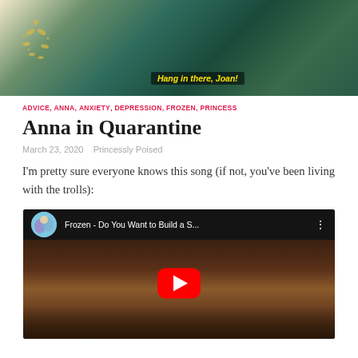[Figure (photo): Hero image showing Anna from Frozen sliding along a couch/sofa with decorative floral wallpaper background. Yellow text overlay reads 'Hang in there, Joan!']
ADVICE, ANNA, ANXIETY, DEPRESSION, FROZEN, PRINCESS
Anna in Quarantine
March 23, 2020   Princessly Poised
I'm pretty sure everyone knows this song (if not, you've been living with the trolls):
[Figure (screenshot): YouTube video embed showing 'Frozen - Do You Want to Build a S...' with red play button overlay. Video thumbnail shows wooden stair balusters/spindles from the movie Frozen.]